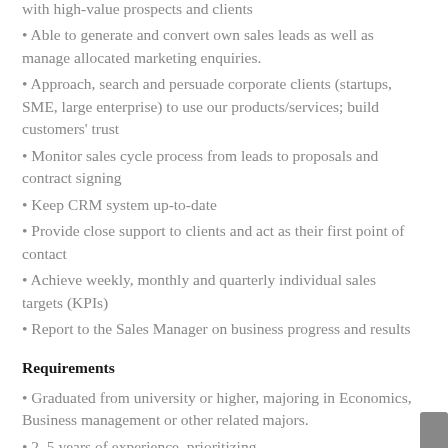with high-value prospects and clients
Able to generate and convert own sales leads as well as manage allocated marketing enquiries.
Approach, search and persuade corporate clients (startups, SME, large enterprise) to use our products/services; build customers' trust
Monitor sales cycle process from leads to proposals and contract signing
Keep CRM system up-to-date
Provide close support to clients and act as their first point of contact
Achieve weekly, monthly and quarterly individual sales targets (KPIs)
Report to the Sales Manager on business progress and results
Requirements
Graduated from university or higher, majoring in Economics, Business management or other related majors.
2-5 years of experience. prioritizing